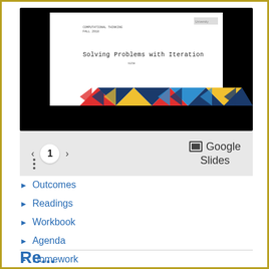[Figure (screenshot): Google Slides embed showing a slide titled 'Solving Problems with Iteration' with navigation controls showing page 1 and Google Slides label]
Outcomes
Readings
Workbook
Agenda
Homework
See Also
Re...